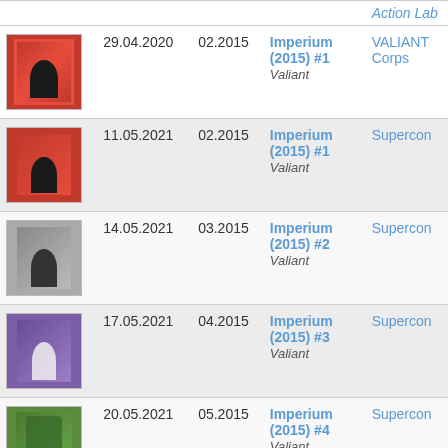| Cover | Date | Month | Issue | Series |
| --- | --- | --- | --- | --- |
|  |  |  |  | Action Lab |
| [img] | 29.04.2020 | 02.2015 | Imperium (2015) #1
Valiant | VALIANT Corps |
| [img] | 11.05.2021 | 02.2015 | Imperium (2015) #1
Valiant | Supercon |
| [img] | 14.05.2021 | 03.2015 | Imperium (2015) #2
Valiant | Supercon |
| [img] | 17.05.2021 | 04.2015 | Imperium (2015) #3
Valiant | Supercon |
| [img] | 20.05.2021 | 05.2015 | Imperium (2015) #4
Valiant | Supercon |
| [img] | 22.12.2021 | 09.2015 | Imperium (2015) #...
Valiant | Supercon |